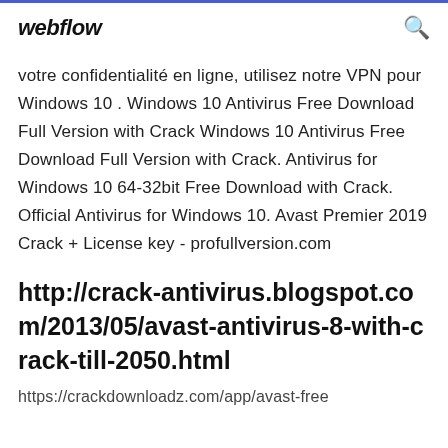webflow
votre confidentialité en ligne, utilisez notre VPN pour Windows 10 . Windows 10 Antivirus Free Download Full Version with Crack Windows 10 Antivirus Free Download Full Version with Crack. Antivirus for Windows 10 64-32bit Free Download with Crack. Official Antivirus for Windows 10. Avast Premier 2019 Crack + License key - profullversion.com
http://crack-antivirus.blogspot.com/2013/05/avast-antivirus-8-with-crack-till-2050.html
https://crackdownloadz.com/app/avast-free